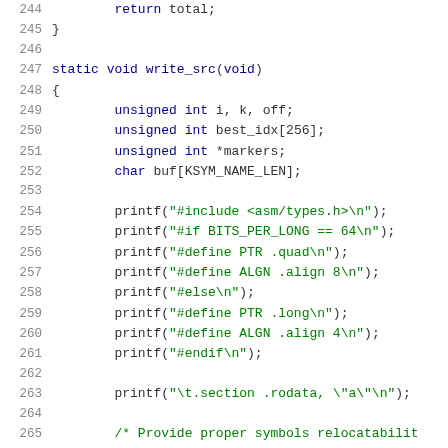[Figure (screenshot): Source code listing in C, lines 244-265, showing a static void write_src function with printf statements for assembly output directives.]